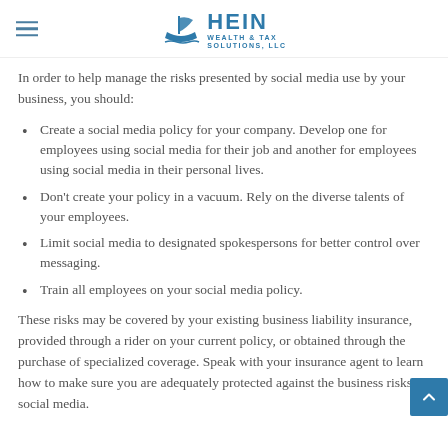HEIN WEALTH & TAX SOLUTIONS, LLC
In order to help manage the risks presented by social media use by your business, you should:
Create a social media policy for your company. Develop one for employees using social media for their job and another for employees using social media in their personal lives.
Don't create your policy in a vacuum. Rely on the diverse talents of your employees.
Limit social media to designated spokespersons for better control over messaging.
Train all employees on your social media policy.
These risks may be covered by your existing business liability insurance, provided through a rider on your current policy, or obtained through the purchase of specialized coverage. Speak with your insurance agent to learn how to make sure you are adequately protected against the business risks of social media.